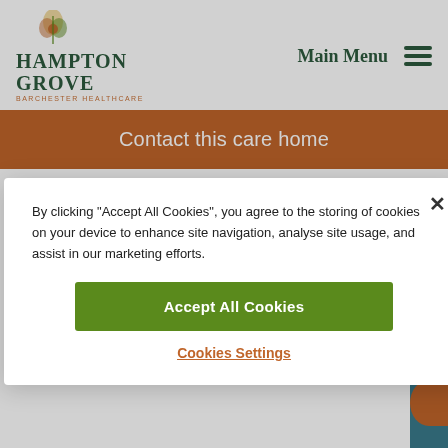[Figure (logo): Hampton Grove by Barchester Healthcare logo with decorative leaf/flower icon]
Main Menu
Contact this care home
By clicking “Accept All Cookies”, you agree to the storing of cookies on your device to enhance site navigation, analyse site usage, and assist in our marketing efforts.
Accept All Cookies
Cookies Settings